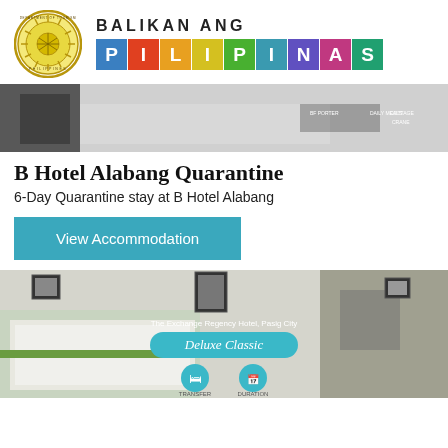[Figure (logo): Department of Tourism Philippines circular seal logo]
[Figure (logo): Balikan Ang Pilipinas colorful block letter logo]
[Figure (photo): Hotel room interior photo with text overlays showing room details]
B Hotel Alabang Quarantine
6-Day Quarantine stay at B Hotel Alabang
View Accommodation
[Figure (photo): The Exchange Regency Hotel, Pasig City - Deluxe Classic room photo with teal overlay showing room category and icons]